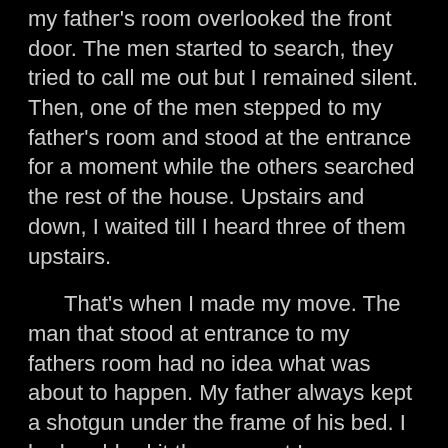my father's room overlooked the front door. The men started to search, they tried to call me out but I remained silent. Then, one of the men stepped to my father's room and stood at the entrance for a moment while the others searched the rest of the house. Upstairs and down, I waited till I heard three of them upstairs.
That's when I made my move. The man that stood at entrance to my fathers room had no idea what was about to happen. My father always kept a shotgun under the frame of his bed. I had grabbed it the moment I swung myself under the bed. I can still remember the feeling of the wood grip and cool metal trigger as I clasped the shotgun in my hands. I aimed it at the right foot the man. I carefully placed my finger on the trigger like my father taught me.
I took in a breath and slowly released it till there was a